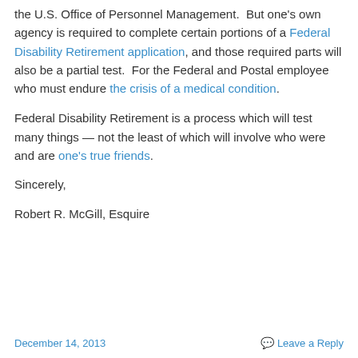the U.S. Office of Personnel Management.  But one's own agency is required to complete certain portions of a Federal Disability Retirement application, and those required parts will also be a partial test.  For the Federal and Postal employee who must endure the crisis of a medical condition.
Federal Disability Retirement is a process which will test many things — not the least of which will involve who were and are one's true friends.
Sincerely,
Robert R. McGill, Esquire
December 14, 2013    Leave a Reply